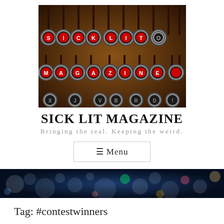[Figure (photo): Vintage typewriter keys spelling out SICK LIT MAGAZINE in red letters on circular metallic keys against dark brown background]
SICK LIT MAGAZINE
Bringing the real. Keeping the weird.
☰ Menu
[Figure (photo): Blurred bokeh city lights banner image with dark blue tones and colorful light circles]
Tag: #contestwinners